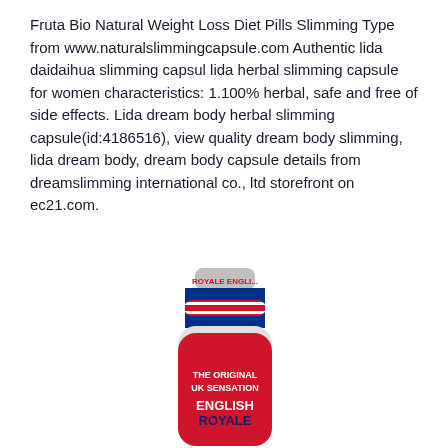Fruta Bio Natural Weight Loss Diet Pills Slimming Type from www.naturalslimmingcapsule.com Authentic lida daidaihua slimming capsul lida herbal slimming capsule for women characteristics: 1.100% herbal, safe and free of side effects. Lida dream body herbal slimming capsule(id:4186516), view quality dream body slimming, lida dream body, dream body capsule details from dreamslimming international co., ltd storefront on ec21.com.
[Figure (photo): A small bottle with a Union Jack (UK flag) design in red, white and blue. The label reads 'THE ORIGINAL UK SENSATION' and 'ENGLISH ROYALE' in bold text.]